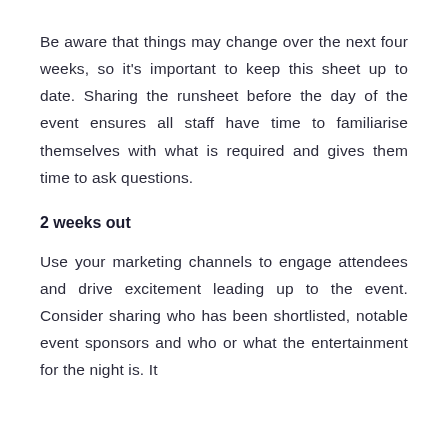Be aware that things may change over the next four weeks, so it's important to keep this sheet up to date. Sharing the runsheet before the day of the event ensures all staff have time to familiarise themselves with what is required and gives them time to ask questions.
2 weeks out
Use your marketing channels to engage attendees and drive excitement leading up to the event. Consider sharing who has been shortlisted, notable event sponsors and who or what the entertainment for the night is. It